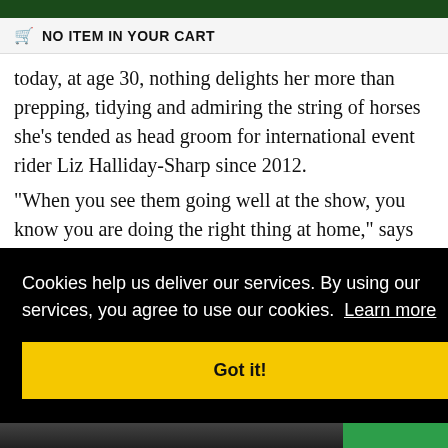NO ITEM IN YOUR CART
today, at age 30, nothing delights her more than prepping, tidying and admiring the string of horses she's tended as head groom for international event rider Liz Halliday-Sharp since 2012.
“When you see them going well at the show, you know you are doing the right thing at home,” says
Cookies help us deliver our services. By using our services, you agree to use our cookies.  Learn more
Got it!
[Figure (photo): Partial photo of a horse visible at bottom and right side of page]